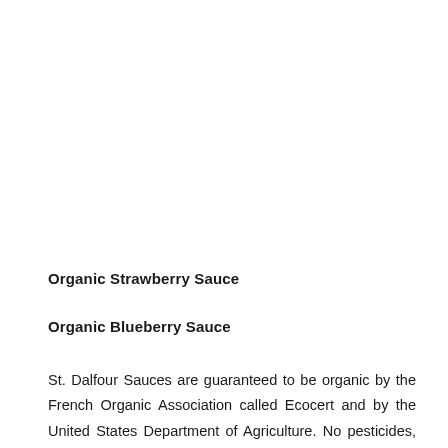Organic Strawberry Sauce
Organic Blueberry Sauce
St. Dalfour Sauces are guaranteed to be organic by the French Organic Association called Ecocert and by the United States Department of Agriculture. No pesticides, chemicals, antibiotics or other harmful substances are used to make St.